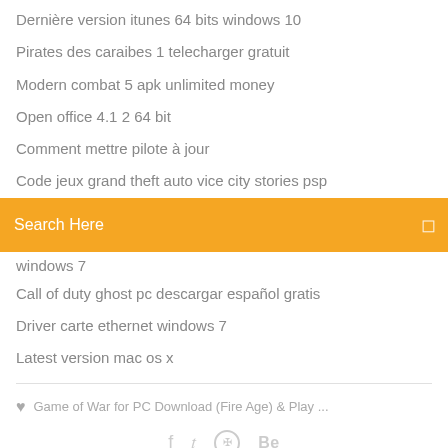Dernière version itunes 64 bits windows 10
Pirates des caraibes 1 telecharger gratuit
Modern combat 5 apk unlimited money
Open office 4.1 2 64 bit
Comment mettre pilote à jour
Code jeux grand theft auto vice city stories psp
[Figure (screenshot): Orange search bar with text 'Search Here' and a small icon on the right]
windows 7
Call of duty ghost pc descargar español gratis
Driver carte ethernet windows 7
Latest version mac os x
♥  Game of War for PC Download (Fire Age) & Play ...
f  𝕥  ⊕  Be